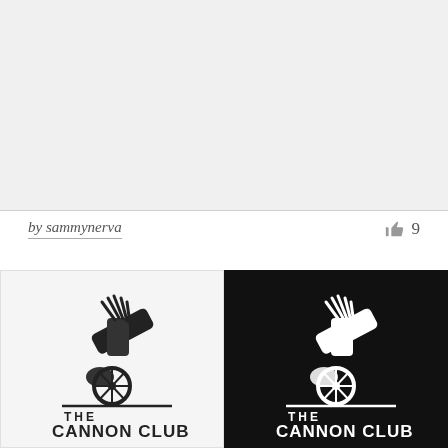[Figure (illustration): Large empty light gray preview area at the top of the page, likely a cropped or blank portion of a logo design submission.]
by sammynerva
[Figure (infographic): Like/thumbs-up icon with count 9]
[Figure (logo): The Cannon Club logo on light background: a cannon with a golf bag and clubs on top, text 'THE CANNON CLUB' below in bold serif/caps style.]
[Figure (logo): The Cannon Club logo on black background: same cannon+golf bag image in white, text 'THE CANNON CLUB' in white below.]